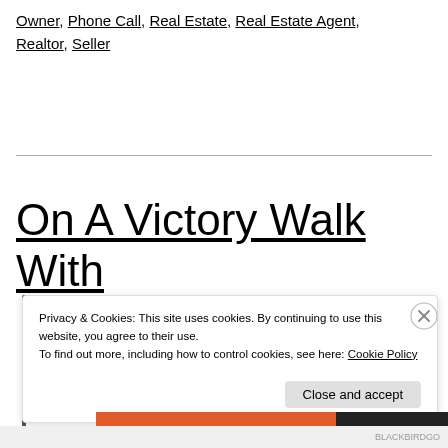Owner, Phone Call, Real Estate, Real Estate Agent, Realtor, Seller
On A Victory Walk With
Privacy & Cookies: This site uses cookies. By continuing to use this website, you agree to their use.
To find out more, including how to control cookies, see here: Cookie Policy